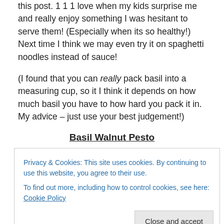this post. 1 1 1 love when my kids surprise me and really enjoy something I was hesitant to serve them! (Especially when its so healthy!) Next time I think we may even try it on spaghetti noodles instead of sauce!
(I found that you can really pack basil into a measuring cup, so it I think it depends on how much basil you have to how hard you pack it in. My advice – just use your best judgement!)
Basil Walnut Pesto
Simply blend it all in the food processor, adding the oil in
Privacy & Cookies: This site uses cookies. By continuing to use this website, you agree to their use.
To find out more, including how to control cookies, see here: Cookie Policy
yummy omega-3 oils!